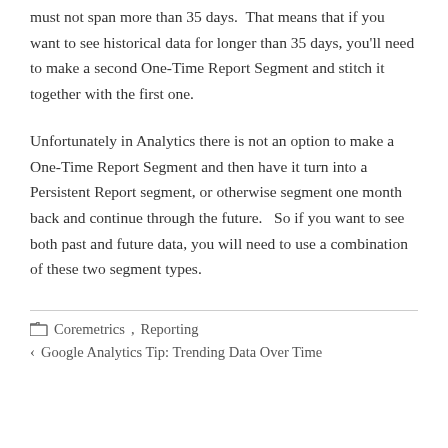must not span more than 35 days.  That means that if you want to see historical data for longer than 35 days, you'll need to make a second One-Time Report Segment and stitch it together with the first one.
Unfortunately in Analytics there is not an option to make a One-Time Report Segment and then have it turn into a Persistent Report segment, or otherwise segment one month back and continue through the future.   So if you want to see both past and future data, you will need to use a combination of these two segment types.
Coremetrics, Reporting | Google Analytics Tip: Trending Data Over Time